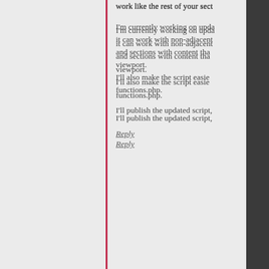work like the rest of your sect
I'm currently working on upda it can work with non-adjacent and sections with content tha viewport.
I'll also make the script easie functions.php.

I'll publish the updated script,
Reply
Chirstoph
Posted on December 30, 2019 at 00:31
Permalink